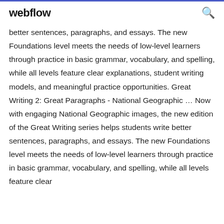webflow
better sentences, paragraphs, and essays. The new Foundations level meets the needs of low-level learners through practice in basic grammar, vocabulary, and spelling, while all levels feature clear explanations, student writing models, and meaningful practice opportunities. Great Writing 2: Great Paragraphs - National Geographic ... Now with engaging National Geographic images, the new edition of the Great Writing series helps students write better sentences, paragraphs, and essays. The new Foundations level meets the needs of low-level learners through practice in basic grammar, vocabulary, and spelling, while all levels feature clear